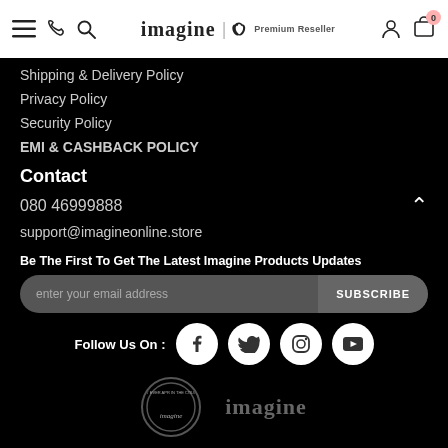imagine | Apple Premium Reseller — navigation header
Shipping & Delivery Policy
Privacy Policy
Security Policy
EMI & CASHBACK POLICY
Contact
080 46999888
support@imagineonline.store
Be The First To Get The Latest Imagine Products Updates
enter your email address   SUBSCRIBE
Follow Us On :
[Figure (logo): Imagine store circular badge logo and text logo at bottom]